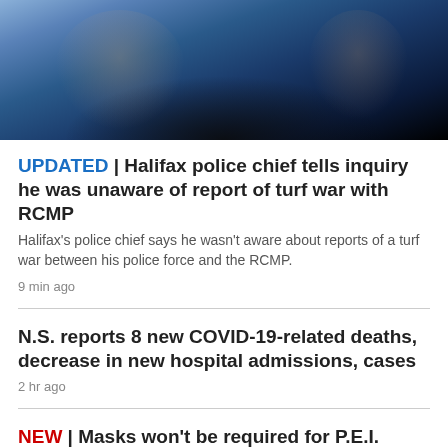[Figure (photo): A man in a dark suit gesturing with both hands at a microphone, with a blue tie, against a teal background]
UPDATED | Halifax police chief tells inquiry he was unaware of report of turf war with RCMP
Halifax's police chief says he wasn't aware about reports of a turf war between his police force and the RCMP.
9 min ago
N.S. reports 8 new COVID-19-related deaths, decrease in new hospital admissions, cases
2 hr ago
NEW | Masks won't be required for P.E.I. students when they return to class
17 min ago